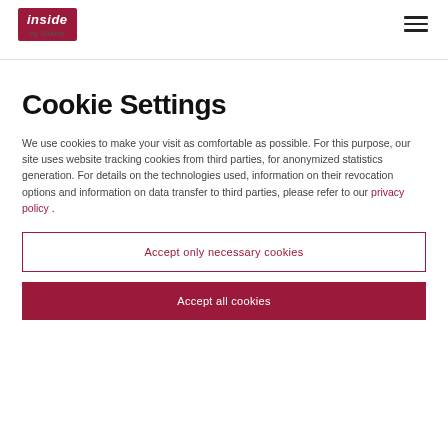inside by Strähle
Cookie Settings
We use cookies to make your visit as comfortable as possible. For this purpose, our site uses website tracking cookies from third parties, for anonymized statistics generation. For details on the technologies used, information on their revocation options and information on data transfer to third parties, please refer to our privacy policy .
Accept only necessary cookies
Accept all cookies